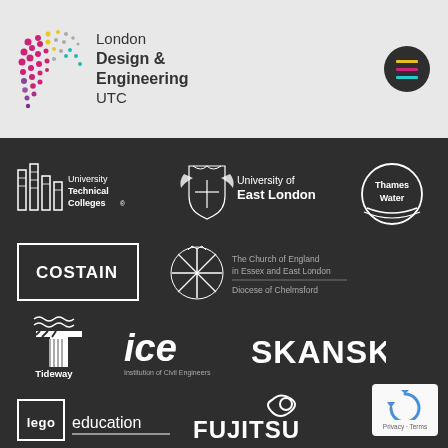[Figure (logo): London Design & Engineering UTC logo with colourful dot pattern and text]
[Figure (logo): Dark circular hamburger menu icon with yellow, pink and teal horizontal bars]
[Figure (logo): University Technical Colleges logo - white building silhouette with text]
[Figure (logo): University of East London logo - white eagle/shield crest with text]
[Figure (logo): Thames Water logo - circle with waves and text]
[Figure (logo): Costain logo - white rectangle border with bold text]
[Figure (logo): The Church of England in Essex and East London Diocese of Chelmsford logo]
[Figure (logo): Tideway logo - diagonal striped T with wavy lines above and text below]
[Figure (logo): ICE Institution of Civil Engineers logo]
[Figure (logo): Skanska logo - bold white text]
[Figure (logo): LEGO Education logo - white rectangle with LEGO branding and education text]
[Figure (logo): Fujitsu logo - white text with infinity symbol]
[Figure (logo): Google reCAPTCHA badge - Privacy Terms]